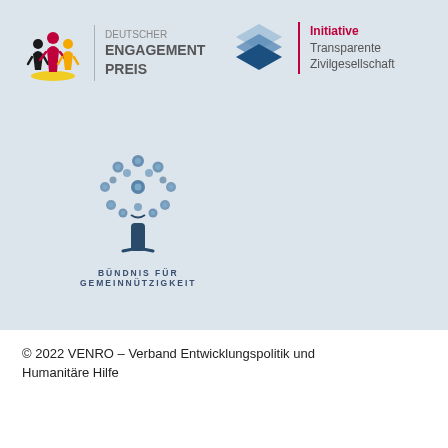[Figure (logo): Deutscher Engagement Preis logo with stylized figures in red, black, yellow and text 'DEUTSCHER ENGAGEMENT PREIS']
[Figure (logo): Initiative Transparente Zivilgesellschaft logo with layered blue diamond shapes and red/gray text]
[Figure (logo): Bündnis für Gemeinnützigkeit logo with a tree made of gears and flowers, text 'BÜNDNIS FÜR GEMEINNÜTZIGKEIT']
© 2022 VENRO – Verband Entwicklungspolitik und Humanitäre Hilfe